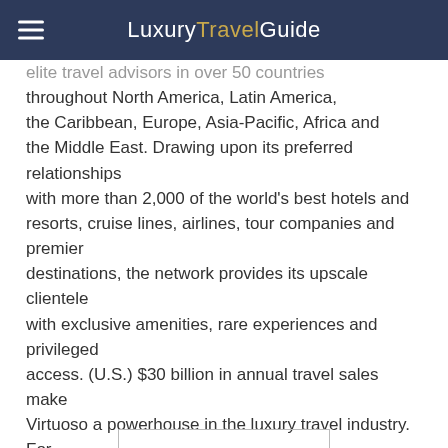Luxury Travel Guide
elite travel advisors in over 50 countries throughout North America, Latin America, the Caribbean, Europe, Asia-Pacific, Africa and the Middle East. Drawing upon its preferred relationships with more than 2,000 of the world's best hotels and resorts, cruise lines, airlines, tour companies and premier destinations, the network provides its upscale clientele with exclusive amenities, rare experiences and privileged access. (U.S.) $30 billion in annual travel sales make Virtuoso a powerhouse in the luxury travel industry. For more information, visit www.virtuoso.com.
Share this article:
[Figure (infographic): Social sharing icons: Facebook, Google+, Twitter]